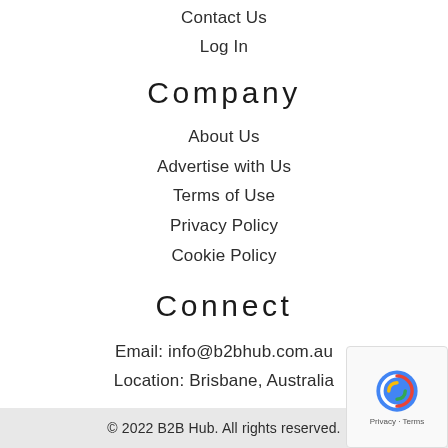Contact Us
Log In
Company
About Us
Advertise with Us
Terms of Use
Privacy Policy
Cookie Policy
Connect
Email: info@b2bhub.com.au
Location: Brisbane, Australia
[Figure (illustration): Social media icons: Facebook, Instagram, LinkedIn (dark rounded square buttons)]
© 2022 B2B Hub. All rights reserved.